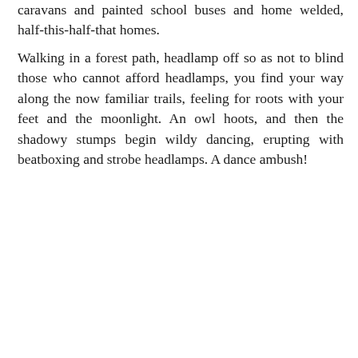caravans and painted school buses and home welded, half-this-half-that homes.
Walking in a forest path, headlamp off so as not to blind those who cannot afford headlamps, you find your way along the now familiar trails, feeling for roots with your feet and the moonlight. An owl hoots, and then the shadowy stumps begin wildy dancing, erupting with beatboxing and strobe headlamps. A dance ambush!